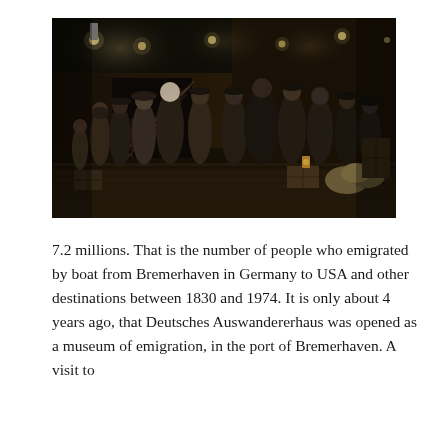[Figure (photo): Indoor museum exhibit showing a dark ship interior scene with life-size figures of people dressed in period clothing (late 19th/early 20th century) standing in a group, surrounded by luggage and crates, with stairs and lights visible in the background. The scene recreates emigrants boarding or waiting on a ship.]
7.2 millions. That is the number of people who emigrated by boat from Bremerhaven in Germany to USA and other destinations between 1830 and 1974. It is only about 4 years ago, that Deutsches Auswandererhaus was opened as a museum of emigration, in the port of Bremerhaven. A visit to